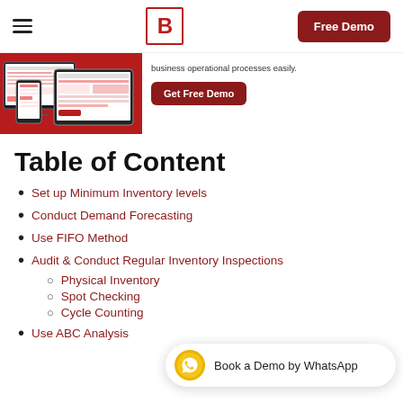B — Free Demo
[Figure (screenshot): Hero banner showing app dashboards on desktop and tablet with a 'Get Free Demo' button and text 'business operational processes easily.']
Table of Content
Set up Minimum Inventory levels
Conduct Demand Forecasting
Use FIFO Method
Audit & Conduct Regular Inventory Inspections
Physical Inventory
Spot Checking
Cycle Counting
Use ABC Analysis
[Figure (other): WhatsApp floating button bar with text 'Book a Demo by WhatsApp']